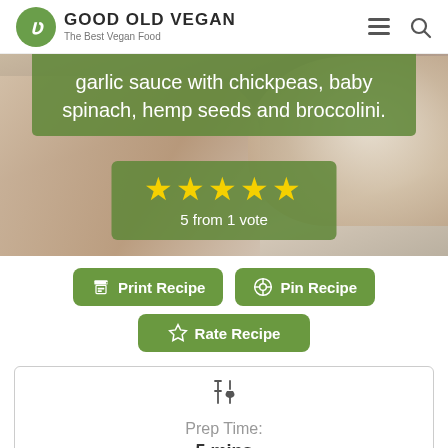GOOD OLD VEGAN — The Best Vegan Food
[Figure (photo): Food photo with green overlaid text reading 'garlic sauce with chickpeas, baby spinach, hemp seeds and broccolini.' and a star rating box showing 5 stars and '5 from 1 vote']
garlic sauce with chickpeas, baby spinach, hemp seeds and broccolini.
5 from 1 vote
Print Recipe
Pin Recipe
Rate Recipe
Prep Time:
5 mins